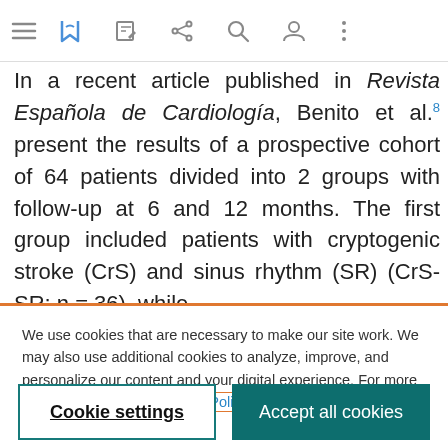[Navigation bar with menu, bookmark, share, search, user, and more icons]
In a recent article published in Revista Española de Cardiología, Benito et al.8 present the results of a prospective cohort of 64 patients divided into 2 groups with follow-up at 6 and 12 months. The first group included patients with cryptogenic stroke (CrS) and sinus rhythm (SR) (CrS-SR; n = 36), while
We use cookies that are necessary to make our site work. We may also use additional cookies to analyze, improve, and personalize our content and your digital experience. For more information, see our Cookie Policy
Cookie settings | Accept all cookies